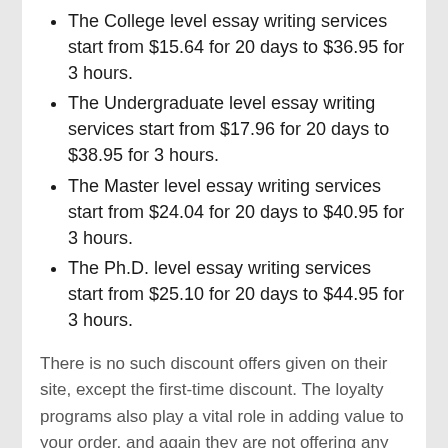The College level essay writing services start from $15.64 for 20 days to $36.95 for 3 hours.
The Undergraduate level essay writing services start from $17.96 for 20 days to $38.95 for 3 hours.
The Master level essay writing services start from $24.04 for 20 days to $40.95 for 3 hours.
The Ph.D. level essay writing services start from $25.10 for 20 days to $44.95 for 3 hours.
There is no such discount offers given on their site, except the first-time discount. The loyalty programs also play a vital role in adding value to your order, and again they are not offering any loyalty program and